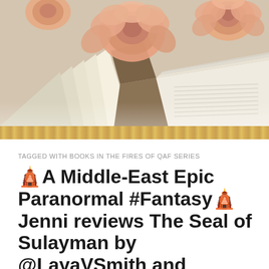[Figure (photo): Open book with peach/salmon roses resting on top, viewed from above, with pages fanned open]
TAGGED WITH BOOKS IN THE FIRES OF QAF SERIES
🛕A Middle-East Epic Paranormal #Fantasy🛕 Jenni reviews The Seal of Sulayman by @LayaVSmith and @Kyro_Dean @EightMoonsPub
Today's team review is from Jenni